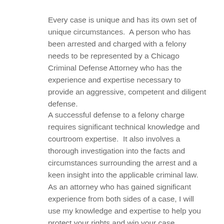Every case is unique and has its own set of unique circumstances.  A person who has been arrested and charged with a felony needs to be represented by a Chicago Criminal Defense Attorney who has the experience and expertise necessary to provide an aggressive, competent and diligent defense.
A successful defense to a felony charge requires significant technical knowledge and courtroom expertise.  It also involves a thorough investigation into the facts and circumstances surrounding the arrest and a keen insight into the applicable criminal law.  As an attorney who has gained significant experience from both sides of a case, I will use my knowledge and expertise to help you protect your rights and win your case.  Contact me now and start protecting your rights!